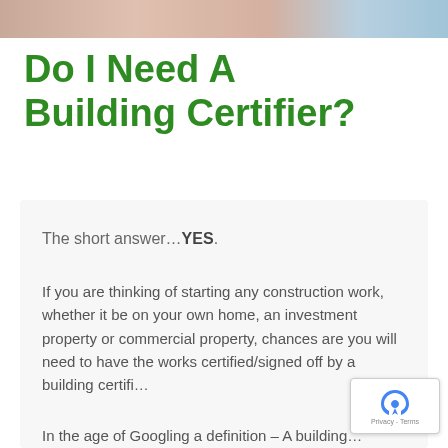[Figure (photo): Partial image strip at top of page showing skin tones, likely a person's face or hands cropped at top]
Do I Need A Building Certifier?
The short answer…YES.
If you are thinking of starting any construction work, whether it be on your own home, an investment property or commercial property, chances are you will need to have the works certified/signed off by a building certifi…
In the age of Googling a definition – A building…